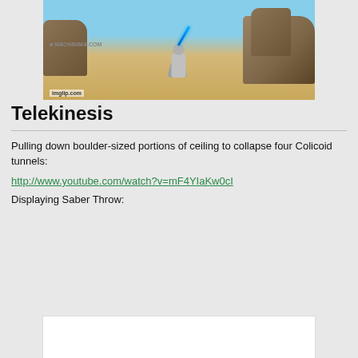[Figure (screenshot): Screenshot from an animated Star Wars Clone Wars style video game showing a robot/droid character wielding a blue lightsaber in a desert rocky environment. Machinima.com and imglip.com watermarks visible.]
Telekinesis
Pulling down boulder-sized portions of ceiling to collapse four Colicoid tunnels:
http://www.youtube.com/watch?v=mF4YIaKw0cI
Displaying Saber Throw:
[Figure (screenshot): A white/blank image area representing a video or screenshot placeholder for Saber Throw display.]